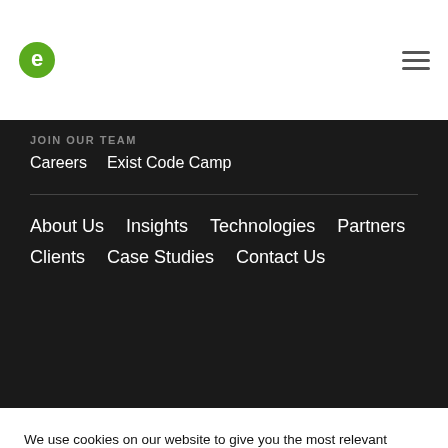exist.com logo and hamburger menu
JOIN OUR TEAM
Careers   Exist Code Camp
About Us   Insights   Technologies   Partners   Clients   Case Studies   Contact Us
We use cookies on our website to give you the most relevant experience by remembering your preferences and repeat visits. By clicking “Accept”, you consent to the use of ALL the cookies.
Do not sell my personal information.
Cookie Settings   Accept
© 2022 exist.com